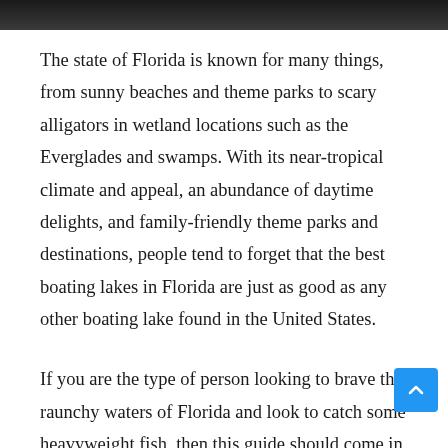[Figure (photo): Top portion of an image, dark/black strip visible at the top of the page]
The state of Florida is known for many things, from sunny beaches and theme parks to scary alligators in wetland locations such as the Everglades and swamps. With its near-tropical climate and appeal, an abundance of daytime delights, and family-friendly theme parks and destinations, people tend to forget that the best boating lakes in Florida are just as good as any other boating lake found in the United States.
If you are the type of person looking to brave the raunchy waters of Florida and look to catch some heavyweight fish, then this guide should come in handy. We will talk about the best boating and fishing destinations, the amenities and services you can expect from each, and a few